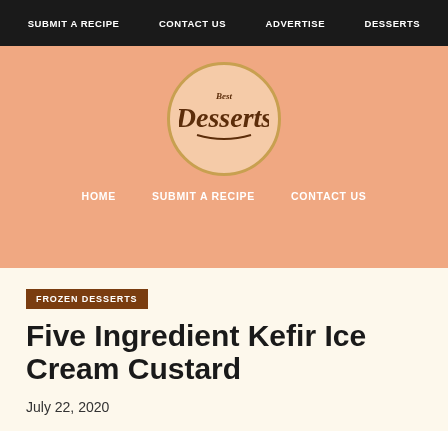SUBMIT A RECIPE   CONTACT US   ADVERTISE   DESSERTS
[Figure (logo): Best Desserts circular logo with script text on peach background]
HOME   SUBMIT A RECIPE   CONTACT US
FROZEN DESSERTS
Five Ingredient Kefir Ice Cream Custard
July 22, 2020